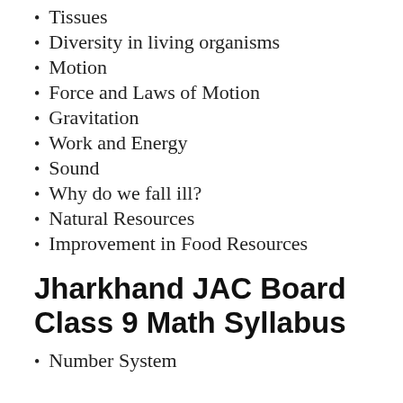Tissues
Diversity in living organisms
Motion
Force and Laws of Motion
Gravitation
Work and Energy
Sound
Why do we fall ill?
Natural Resources
Improvement in Food Resources
Jharkhand JAC Board Class 9 Math Syllabus
Number System